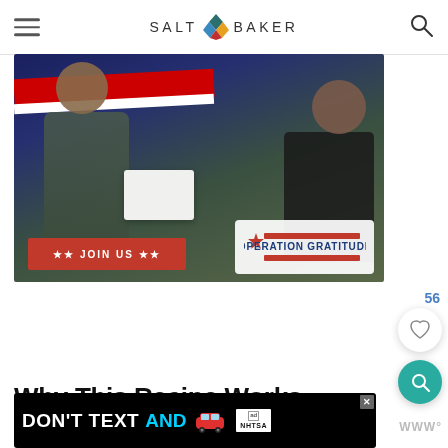SALT & BAKER
[Figure (photo): Two people exchanging a box labeled with Operation Gratitude logo. A military person in camouflage uniform receives a package from a woman in black. Red banner at bottom reads '★★ JOIN US ★★' and Operation Gratitude logo visible. Red and white stripes in background.]
56
Why This Recipe Works
[Figure (screenshot): Black advertisement banner with text 'DON'T TEXT AND' in white and cyan, with a red car emoji, ad badge, and NHTSA logo. Close button (X) in top right corner.]